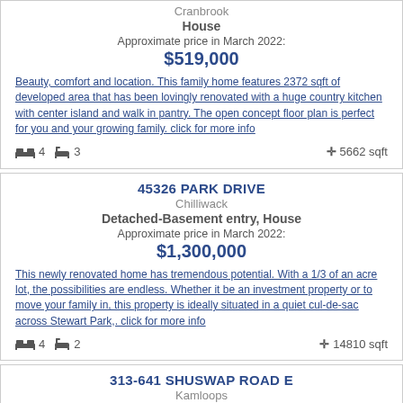Cranbrook
House
Approximate price in March 2022:
$519,000
Beauty, comfort and location. This family home features 2372 sqft of developed area that has been lovingly renovated with a huge country kitchen with center island and walk in pantry. The open concept floor plan is perfect for you and your growing family. click for more info
4 bedrooms, 3 bathrooms, 5662 sqft
45326 PARK DRIVE
Chilliwack
Detached-Basement entry, House
Approximate price in March 2022:
$1,300,000
This newly renovated home has tremendous potential. With a 1/3 of an acre lot, the possibilities are endless. Whether it be an investment property or to move your family in, this property is ideally situated in a quiet cul-de-sac across Stewart Park,. click for more info
4 bedrooms, 2 bathrooms, 14810 sqft
313-641 SHUSWAP ROAD E
Kamloops